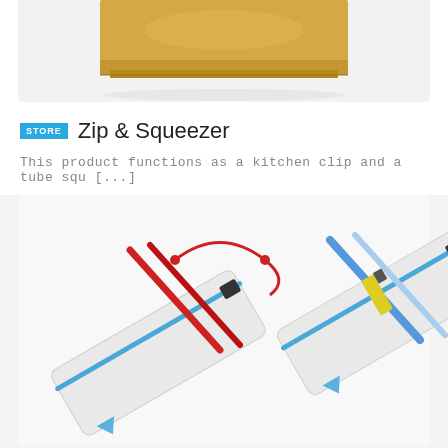[Figure (photo): Top portion of a kraft paper bag or envelope on white background, cropped at bottom]
STORE  Zip & Squeezer
This product functions as a kitchen clip and a tube squ [...]
[Figure (photo): Two white zipper pencil pouches open, one containing red stylus pens and a red cord, the other containing a blue pen, yellow USB drive, and other items. Both pouches have blue zippers with black tabs and blue arrow design at bottom.]